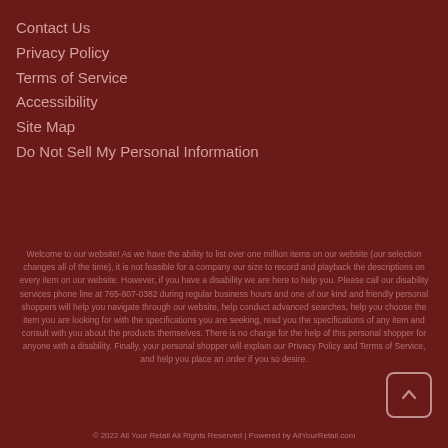Contact Us
Privacy Policy
Terms of Service
Accessibility
Site Map
Do Not Sell My Personal Information
Welcome to our website! As we have the ability to list over one million items on our website (our selection changes all of the time), it is not feasible for a company our size to record and playback the descriptions on every item on our website. However, if you have a disability we are here to help you. Please call our disability services phone line at 765-807-0382 during regular business hours and one of our kind and friendly personal shoppers will help you navigate through our website, help conduct advanced searches, help you choose the item you are looking for with the specifications you are seeking, read you the specifications of any item and consult with you about the products themselves. There is no charge for the help of this personal shopper for anyone with a disability. Finally, your personal shopper will explain our Privacy Policy and Terms of Service, and help you place an order if you so desire.
© 2022 All Your Retail All Rights Reserved | Powered by AllYourRetail.com